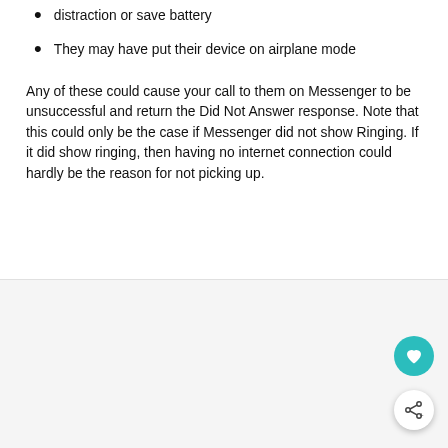distraction or save battery
They may have put their device on airplane mode
Any of these could cause your call to them on Messenger to be unsuccessful and return the Did Not Answer response. Note that this could only be the case if Messenger did not show Ringing. If it did show ringing, then having no internet connection could hardly be the reason for not picking up.
[Figure (other): Light gray panel at bottom of page with a teal circular heart button and a white circular share button with a share icon]